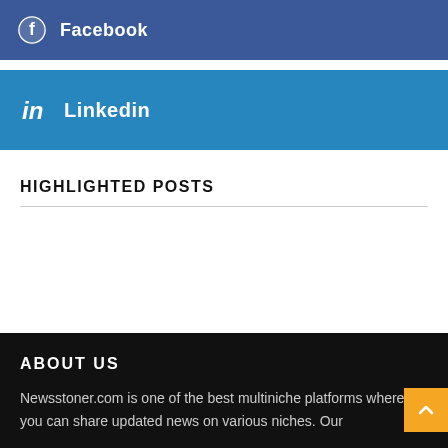[Figure (logo): Facebook social media button bar with Facebook logo icon and text 'Facebook' on dark blue background]
[Figure (logo): LinkedIn social media button bar with LinkedIn 'in' logo icon and text 'Linkedin' on medium blue background]
HIGHLIGHTED POSTS
ABOUT US
Newsstoner.com is one of the best multiniche platforms where you can share updated news on various niches. Our